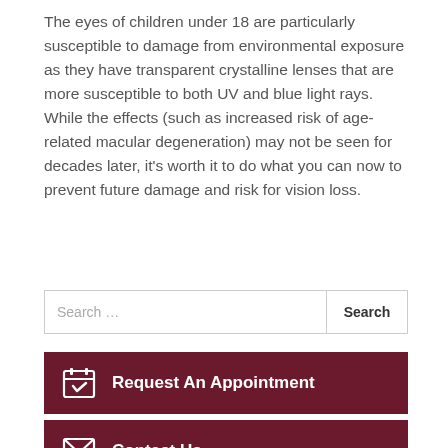The eyes of children under 18 are particularly susceptible to damage from environmental exposure as they have transparent crystalline lenses that are more susceptible to both UV and blue light rays. While the effects (such as increased risk of age-related macular degeneration) may not be seen for decades later, it's worth it to do what you can now to prevent future damage and risk for vision loss.
Search ...
Request An Appointment
Contact Us